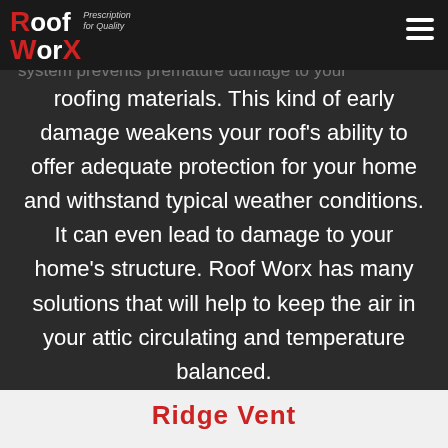Roof Worx — Prescription for Quality
outside. By removing excess heat and moisture from the attic, ventilation for roofing system prevents premature damage to your roofing materials. This kind of early damage weakens your roof's ability to offer adequate protection for your home and withstand typical weather conditions. It can even lead to damage to your home's structure. Roof Worx has many solutions that will help to keep the air in your attic circulating and temperature balanced.
Ridge Vent